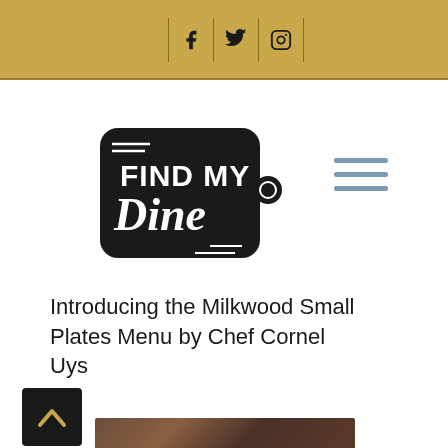Find My Dine website header with gold background and social media icons (Facebook, Twitter, Instagram)
[Figure (logo): Find My Dine logo - black cutting board shape with white text 'FIND MY Dine' and a small circle]
[Figure (other): Hamburger menu icon with three horizontal grey/blue lines]
Introducing the Milkwood Small Plates Menu by Chef Cornel Uys
[Figure (other): Back to top button - black square with gold chevron/caret arrow pointing up]
[Figure (photo): Partial food photo visible at bottom of page]